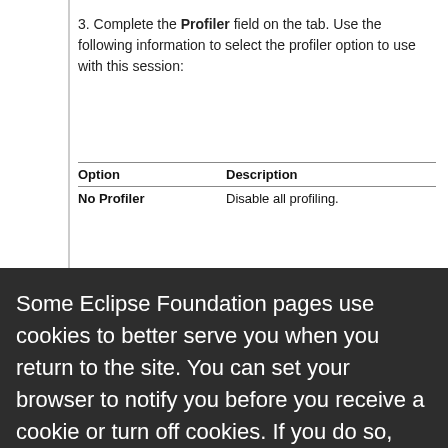3. Complete the Profiler field on the tab. Use the following information to select the profiler option to use with this session:
| Option | Description |
| --- | --- |
| No Profiler | Disable all profiling. |
[Figure (screenshot): Cookie consent overlay from Eclipse Foundation website with dark background, showing cookie notice text, a link 'click here.', and two buttons: 'Decline' (white) and 'Allow cookies' (orange).]
using Session method setProfiler, as this example shows